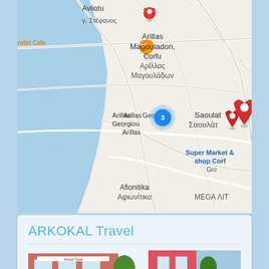[Figure (map): Google Maps screenshot showing Arillas area in Corfu, Greece. Locations visible: Avliotes, Arillas Magouladon (Αρίλλας Μαγουλάδων), Arillas Georgiou (with blue cluster pin '3'), Saoulata/Σαουλάτικα (with red pins), Super Market & shop Corfu, Afionitika/Αφιωνίτικα. Also visible: rotiri Cafe with orange coffee pin, red pin at top. Blue sea area on left side. Road network visible.]
ARKOKAL Travel
[Figure (photo): Photo of ARKOKAL Travel office building exterior, appearing to show a storefront with signage, trees, and a pink/red building to the right.]